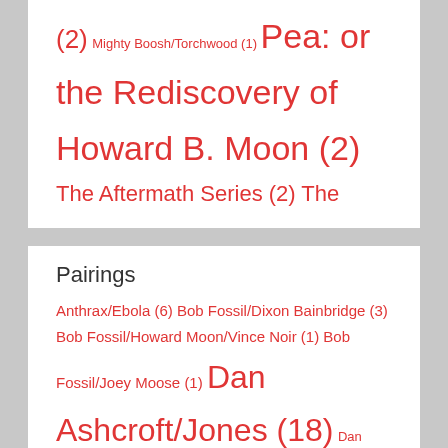(2) Mighty Boosh/Torchwood (1) Pea: or the Rediscovery of Howard B. Moon (2) The Aftermath Series (2) The Bet/The Dare (2) The Hurting to Protect Series (3)
Pairings
Anthrax/Ebola (6) Bob Fossil/Dixon Bainbridge (3) Bob Fossil/Howard Moon/Vince Noir (1) Bob Fossil/Joey Moose (1) Dan Ashcroft/Jones (18) Dan Ashcroft/Richmond (1) Dan Ashcroft/Vince Noir (1) Dave Brown/Mike Fielding (4) Dave